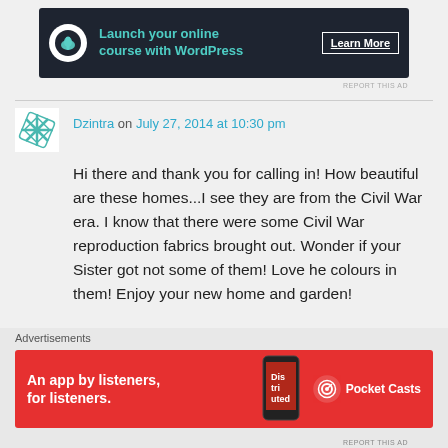[Figure (other): WordPress online course advertisement banner with bonsai tree logo. Dark navy background. Text: 'Launch your online course with WordPress' and 'Learn More' button.]
Dzintra on July 27, 2014 at 10:30 pm
Hi there and thank you for calling in! How beautiful are these homes...I see they are from the Civil War era. I know that there were some Civil War reproduction fabrics brought out. Wonder if your Sister got not some of them! Love he colours in them! Enjoy your new home and garden!
Like
Advertisements
[Figure (other): Pocket Casts advertisement. Red background with phone showing 'Distributed' and Pocket Casts logo. Text: 'An app by listeners, for listeners.']